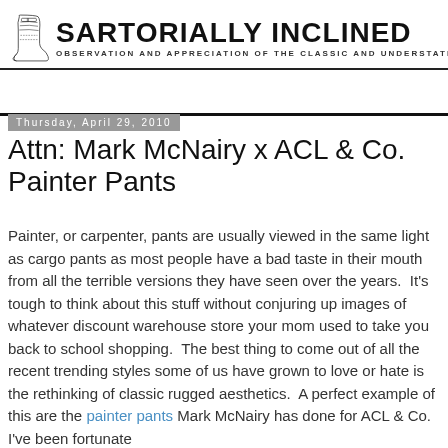SARTORIALLY INCLINED — OBSERVATION AND APPRECIATION OF THE CLASSIC AND UNDERSTATED
Thursday, April 29, 2010
Attn: Mark McNairy x ACL & Co. Painter Pants
Painter, or carpenter, pants are usually viewed in the same light as cargo pants as most people have a bad taste in their mouth from all the terrible versions they have seen over the years.  It's tough to think about this stuff without conjuring up images of whatever discount warehouse store your mom used to take you back to school shopping.  The best thing to come out of all the recent trending styles some of us have grown to love or hate is the rethinking of classic rugged aesthetics.  A perfect example of this are the painter pants Mark McNairy has done for ACL & Co.  I've been fortunate